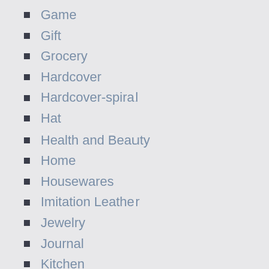Game
Gift
Grocery
Hardcover
Hardcover-spiral
Hat
Health and Beauty
Home
Housewares
Imitation Leather
Jewelry
Journal
Kitchen
Lawn & Patio
Leather Bound
Library Binding